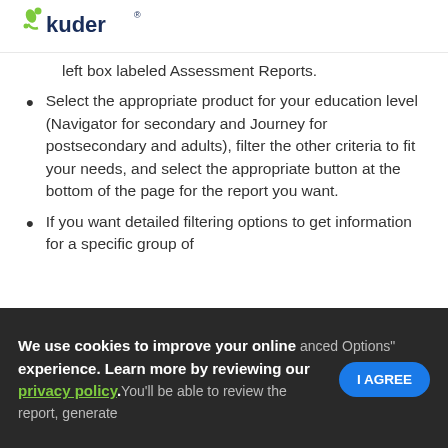[Figure (logo): Kuder logo with green swirl icon and dark blue wordmark]
left box labeled Assessment Reports.
Select the appropriate product for your education level (Navigator for secondary and Journey for postsecondary and adults), filter the other criteria to fit your needs, and select the appropriate button at the bottom of the page for the report you want.
If you want detailed filtering options to get information for a specific group of
anced Options"
We use cookies to improve your online experience. Learn more by reviewing our privacy policy.You'll be able to review the report, generate